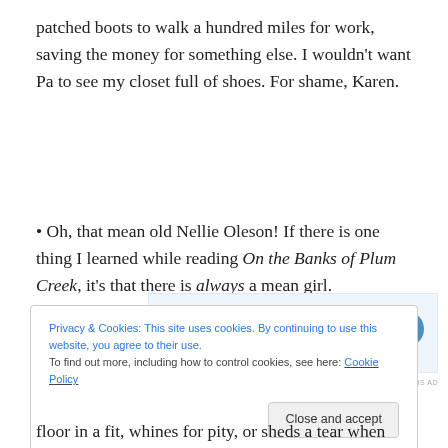patched boots to walk a hundred miles for work, saving the money for something else. I wouldn't want Pa to see my closet full of shoes. For shame, Karen.
Oh, that mean old Nellie Oleson! If there is one thing I learned while reading On the Banks of Plum Creek, it's that there is always a mean girl.
[Figure (screenshot): WordPress advertisement: 'Build a writing habit. Post on the go.' with GET THE APP button and WordPress logo]
Privacy & Cookies: This site uses cookies. By continuing to use this website, you agree to their use.
To find out more, including how to control cookies, see here: Cookie Policy
floor in a fit, whines for pity, or sheds a tear when things go